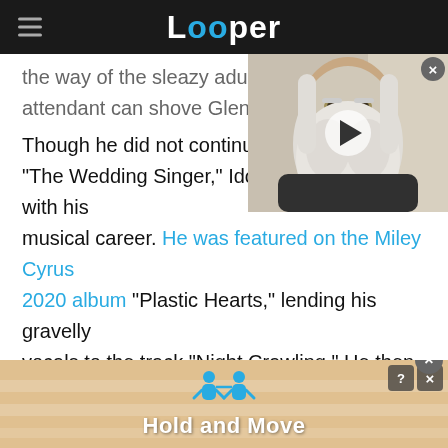Looper
the way of the sleazy adulte... attendant can shove Glenn ...
[Figure (screenshot): Video thumbnail showing an elderly man with long white beard and hair, with a play button overlay and close X button]
Though he did not continue "The Wedding Singer," Idol has kept busy with his musical career. He was featured on the Miley Cyrus 2020 album "Plastic Hearts," lending his gravelly vocals to the track "Night Crawling." He then released an EP in 2021 entitled "The Roadside." The rocker still maintains his spiked blond hair and
[Figure (infographic): Ad banner with blue figure icons and text 'Hold and Move' on a beige/tan gradient background with close controls]